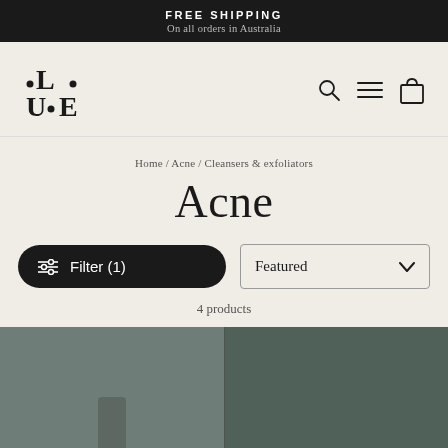FREE SHIPPING
On all orders in Australia
[Figure (logo): LUE brand logo with stylized dot-letter arrangement]
Home / Acne / Cleansers & exfoliators
Acne
Filter (1)
Featured
4 products
[Figure (photo): Two product images side by side on dark green-grey background]